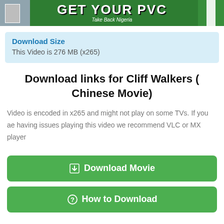[Figure (photo): Green banner with bold white text 'GET YOUR PVC' and italic subtitle 'Take Back Nigeria'. Left side shows a person's face photo. Right side shows a Nigerian flag or green element.]
Download Size
This Video is 276 MB (x265)
Download links for Cliff Walkers ( Chinese Movie)
Video is encoded in x265 and might not play on some TVs. If you ae having issues playing this video we recommend VLC or MX player
[Figure (other): Green button labeled 'Download Movie' with a download icon]
[Figure (other): Green button labeled 'How to Download' with a question mark circle icon]